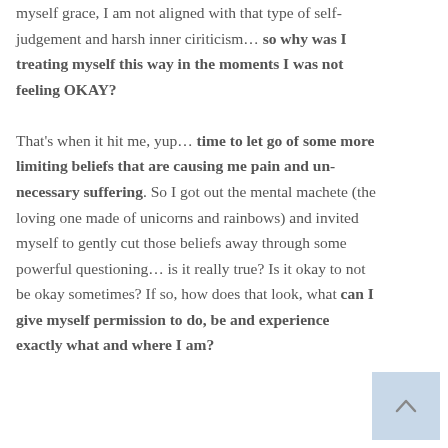myself grace, I am not aligned with that type of self-judgement and harsh inner ciriticism… so why was I treating myself this way in the moments I was not feeling OKAY?

That's when it hit me, yup… time to let go of some more limiting beliefs that are causing me pain and un-necessary suffering. So I got out the mental machete (the loving one made of unicorns and rainbows) and invited myself to gently cut those beliefs away through some powerful questioning… is it really true? Is it okay to not be okay sometimes? If so, how does that look, what can I give myself permission to do, be and experience exactly what and where I am?